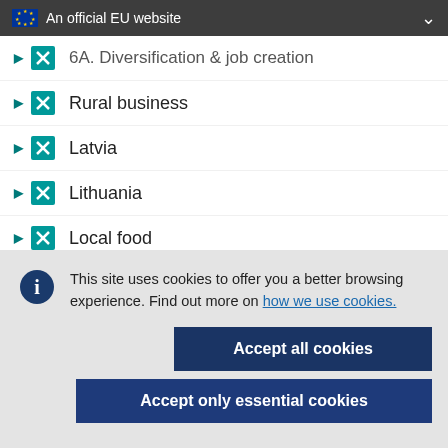An official EU website
6A. Diversification & job creation
Rural business
Latvia
Lithuania
Local food
Tourism
This site uses cookies to offer you a better browsing experience. Find out more on how we use cookies.
Accept all cookies
Accept only essential cookies